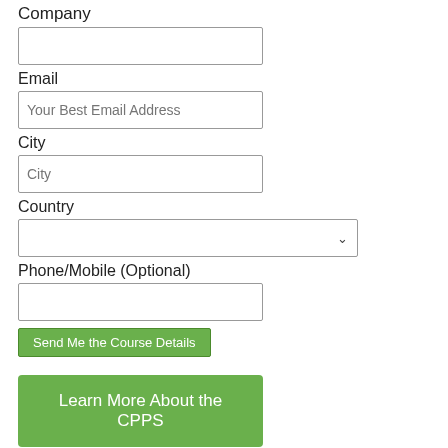Company
Email
Your Best Email Address
City
City
Country
Phone/Mobile (Optional)
Send Me the Course Details
Learn More About the CPPS